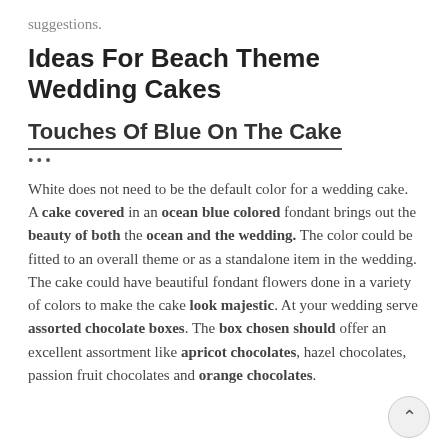suggestions.
Ideas For Beach Theme Wedding Cakes
Touches Of Blue On The Cake
White does not need to be the default color for a wedding cake. A cake covered in an ocean blue colored fondant brings out the beauty of both the ocean and the wedding. The color could be fitted to an overall theme or as a standalone item in the wedding. The cake could have beautiful fondant flowers done in a variety of colors to make the cake look majestic. At your wedding serve assorted chocolate boxes. The box chosen should offer an excellent assortment like apricot chocolates, hazel chocolates, passion fruit chocolates and orange chocolates.